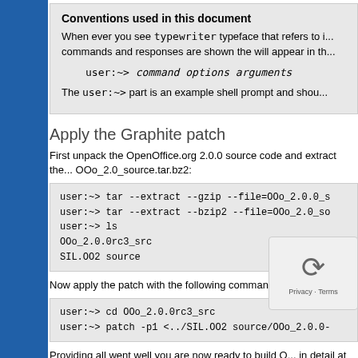Conventions used in this document
When ever you see typewriter typeface that refers to i... commands and responses are shown the will appear in th...
    user:~> command options arguments
The user:~> part is an example shell prompt and shou...
Apply the Graphite patch
First unpack the OpenOffice.org 2.0.0 source code and extract the... OOo_2.0_source.tar.bz2:
user:~> tar --extract --gzip --file=OOo_2.0.0_s
user:~> tar --extract --bzip2 --file=OOo_2.0_so
user:~> ls
OOo_2.0.0rc3_src
SIL.OO2 source
Now apply the patch with the following commands:
user:~> cd OOo_2.0.0rc3_src
user:~> patch -p1 <../SIL.OO2 source/OOo_2.0.0-
Providing all went well you are now ready to build O... in detail at OpenOffice.org for Developers. A ba...
Configuring the OpenOffice build envi...